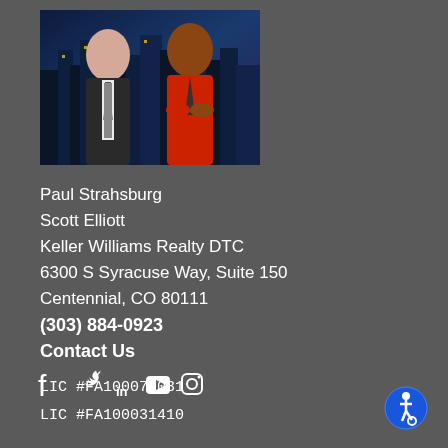[Figure (photo): Two men posing together in front of a city skyline at night. Left: older white man in dark suit with striped tie. Right: Black man in red shirt with dark tie.]
Paul Strahsburg
Scott Elliott
Keller Williams Realty DTC
6300 S Syracuse Way, Suite 150
Centennial, CO 80111
(303) 884-0923
Contact Us
[Figure (infographic): Social media icons: Facebook, Twitter, LinkedIn, YouTube, Instagram]
LIC #FA100070031
LIC #FA100031410
[Figure (other): Blue accessibility icon button (wheelchair person symbol)]